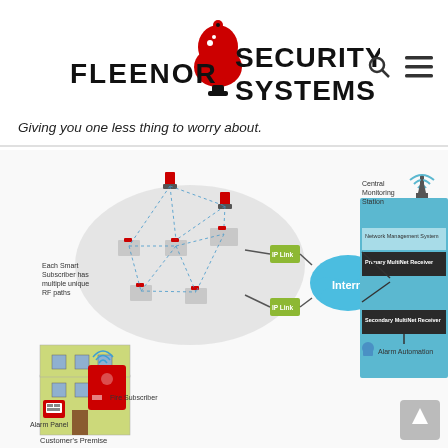[Figure (logo): Fleenor Security Systems logo with red alarm bell icon and black bold text]
Giving you one less thing to worry about.
[Figure (infographic): Network diagram showing security system: Customer's Premise with Alarm Panel, Fire Subscriber, RF mesh network of smart subscribers in a cloud, connecting via IP Link boxes through Internet cloud to Central Monitoring Station with Network Management System, Primary MultiNet Receiver, Secondary MultiNet Receiver, and Alarm Automation.]